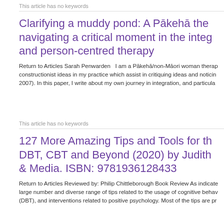This article has no keywords
Clarifying a muddy pond: A Pākehā the navigating a critical moment in the inte and person-centred therapy
Return to Articles Sarah Penwarden   I am a Pākehā/non-Māori woman thera constructionist ideas in my practice which assist in critiquing ideas and noticin 2007). In this paper, I write about my own journey in integration, and particula
This article has no keywords
127 More Amazing Tips and Tools for th DBT, CBT and Beyond (2020) by Judith & Media. ISBN: 9781936128433
Return to Articles Reviewed by: Philip Chittleborough Book Review As indicate large number and diverse range of tips related to the usage of cognitive behav (DBT), and interventions related to positive psychology. Most of the tips are pr